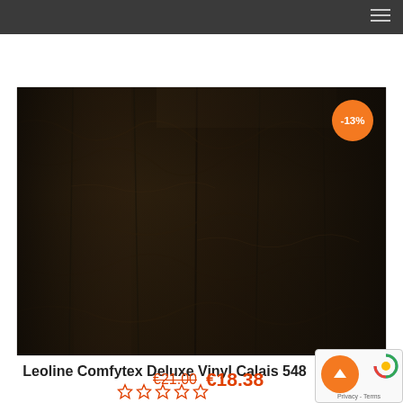[Figure (photo): Dark wood grain vinyl flooring texture in dark brown/black tones, showing vertical wood plank pattern. A -13% orange circular discount badge is overlaid in the top-right corner.]
Leoline Comfytex Deluxe Vinyl Calais 548
[Figure (other): 5 empty/outline star rating icons in orange/red]
€21.00  €18.38